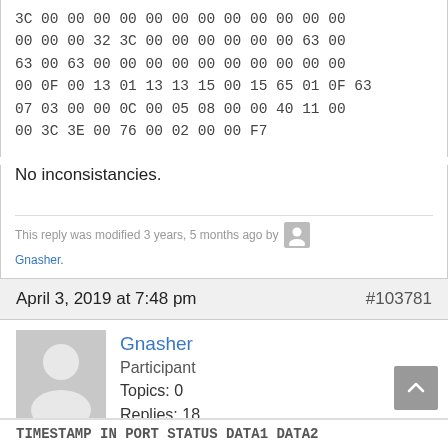3C 00 00 00 00 00 00 00 00 00 00 00 00
00 00 00 32 3C 00 00 00 00 00 00 63 00
63 00 63 00 00 00 00 00 00 00 00 00 00
00 0F 00 13 01 13 13 15 00 15 65 01 0F 63
07 03 00 00 0C 00 05 08 00 00 40 11 00
00 3C 3E 00 76 00 02 00 00 F7
No inconsistancies.
This reply was modified 3 years, 5 months ago by Gnasher.
April 3, 2019 at 7:48 pm  #103781
Gnasher
Participant
Topics: 0
Replies: 18
Total: 18
When clicked on edit mode while previously on combi mode:
TIMESTAMP IN PORT STATUS DATA1 DATA2